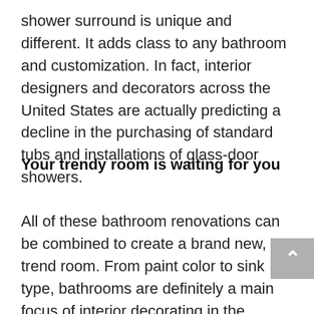shower surround is unique and different. It adds class to any bathroom and customization. In fact, interior designers and decorators across the United States are actually predicting a decline in the purchasing of standard tubs and installations of glass-door showers.
Your trendy room is waiting for you
All of these bathroom renovations can be combined to create a brand new, on-trend room. From paint color to sink type, bathrooms are definitely a main focus of interior decorating in the upcoming year. If your bathroom doesn't necessarily need remodeling, you can still add a few modern trends to your already